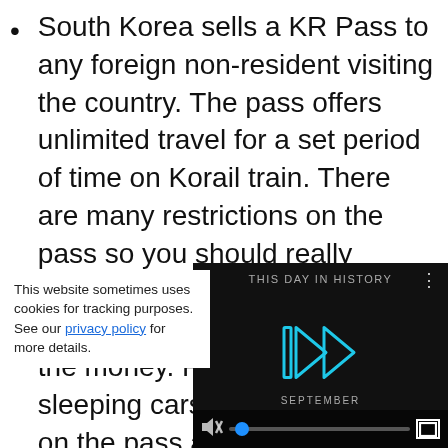South Korea sells a KR Pass to any foreign non-resident visiting the country. The pass offers unlimited travel for a set period of time on Korail train. There are many restrictions on the pass so you should really consider the cost effectiveness of purchasing it before paying the money. First class and sleeping cars are not included on the pass and the limitations are even stricter during holiday and peak periods of travel. In order to ma[ke the most of the] pass you will h[ave to...]
This website sometimes uses cookies for tracking purposes. See our privacy policy for more details.
[Figure (screenshot): Video player overlay showing 'This Day in History' with a play button icon, September label, mute button, progress bar with blue dot, and fullscreen button on a dark background.]